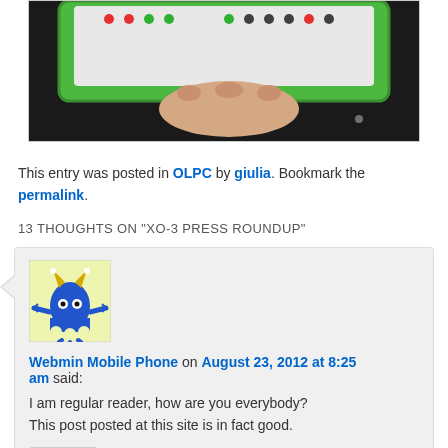[Figure (photo): A hand holding a green-bordered tablet device (OLPC XO-3) against a dark background, showing the screen with colorful dots/buttons visible at the top.]
This entry was posted in OLPC by giulia. Bookmark the permalink.
13 THOUGHTS ON "XO-3 PRESS ROUNDUP"
[Figure (illustration): Avatar icon: a blue ghost-like monster character with yellow horns and white eyes, on a light yellow/green background.]
Webmin Mobile Phone on August 23, 2012 at 8:25 am said:
I am regular reader, how are you everybody? This post posted at this site is in fact good.
Reply ↓